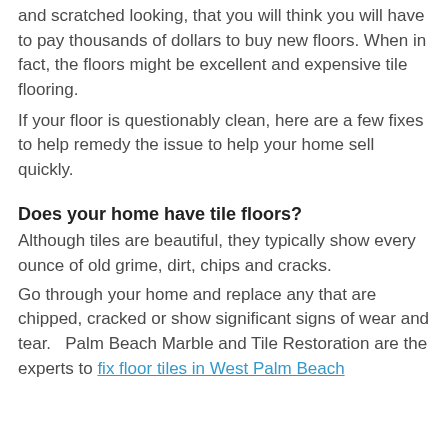and scratched looking, that you will think you will have to pay thousands of dollars to buy new floors. When in fact, the floors might be excellent and expensive tile flooring.
If your floor is questionably clean, here are a few fixes to help remedy the issue to help your home sell quickly.
Does your home have tile floors?
Although tiles are beautiful, they typically show every ounce of old grime, dirt, chips and cracks.
Go through your home and replace any that are chipped, cracked or show significant signs of wear and tear.   Palm Beach Marble and Tile Restoration are the experts to fix floor tiles in West Palm Beach